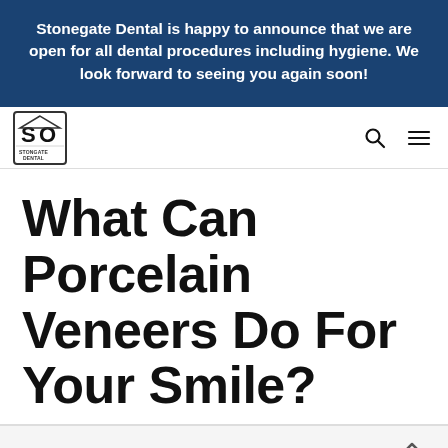Stonegate Dental is happy to announce that we are open for all dental procedures including hygiene. We look forward to seeing you again soon!
[Figure (logo): Stonegate Dental logo — stylized SD letters in a house/shield shape with 'STONGATE DENTAL' text beneath]
What Can Porcelain Veneers Do For Your Smile?
Guelph Dental
April 26, 2017